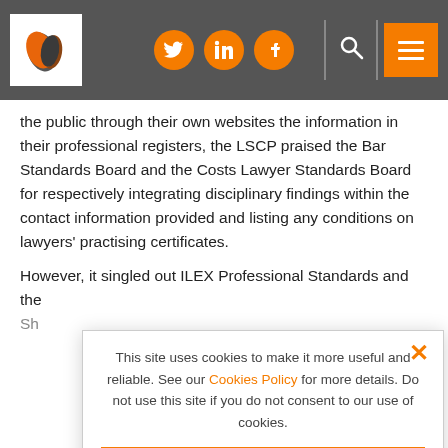Header bar with logo, social icons (Twitter, LinkedIn, Facebook), search, and menu
the public through their own websites the information in their professional registers, the LSCP praised the Bar Standards Board and the Costs Lawyer Standards Board for respectively integrating disciplinary findings within the contact information provided and listing any conditions on lawyers' practising certificates.
However, it singled out ILEX Professional Standards and the S... re... u... u... w...
In... fo... qu... O...
This site uses cookies to make it more useful and reliable. See our Cookies Policy for more details. Do not use this site if you do not consent to our use of cookies.
I CONSENT
SEE COOKIE POLICY